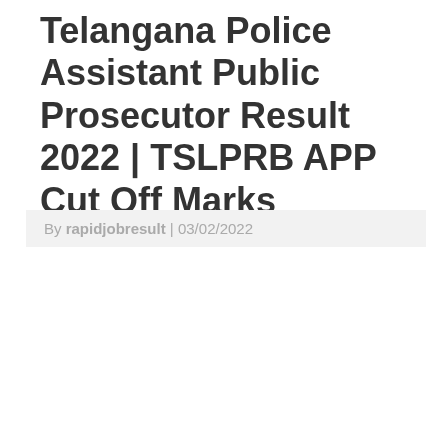Telangana Police Assistant Public Prosecutor Result 2022 | TSLPRB APP Cut Off Marks
By rapidjobresult | 03/02/2022